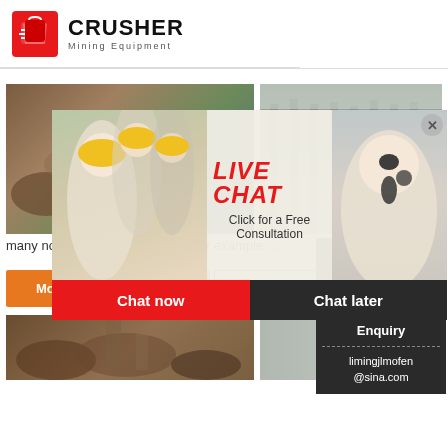[Figure (logo): Crusher Mining Equipment logo with red shopping bag icon and bold text]
[Figure (photo): Mining/crusher rocks and machinery photo on left]
[Figure (photo): Industrial factory/warehouse interior photo on right]
[Figure (infographic): Live chat popup overlay with workers photo, customer service agent photo, LIVE CHAT title, Chat now and Chat later buttons]
many nonmetallic mineral fields For example ...
More
Get Price
Email c
Need questions & suggestion?
Chat Now
Enquiry
limingjlmofen@sina.com
[Figure (photo): Mining rocks photo bottom left]
[Figure (photo): Industrial interior photo bottom right]